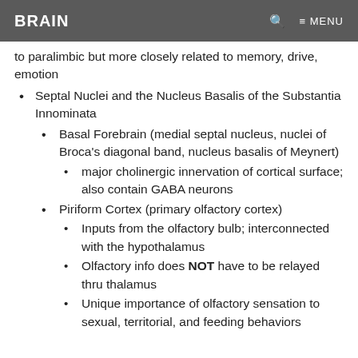BRAIN
to paralimbic but more closely related to memory, drive, emotion
Septal Nuclei and the Nucleus Basalis of the Substantia Innominata
Basal Forebrain (medial septal nucleus, nuclei of Broca's diagonal band, nucleus basalis of Meynert)
major cholinergic innervation of cortical surface; also contain GABA neurons
Piriform Cortex (primary olfactory cortex)
Inputs from the olfactory bulb; interconnected with the hypothalamus
Olfactory info does NOT have to be relayed thru thalamus
Unique importance of olfactory sensation to sexual, territorial, and feeding behaviors